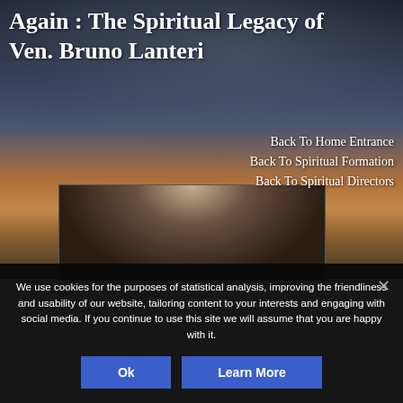Again : The Spiritual Legacy of Ven. Bruno Lanteri
Back To Home Entrance
Back To Spiritual Formation
Back To Spiritual Directors
[Figure (photo): Partial view of a person (head/hair visible) in front of a warm-lit background, partially cropped]
We use cookies for the purposes of statistical analysis, improving the friendliness and usability of our website, tailoring content to your interests and engaging with social media. If you continue to use this site we will assume that you are happy with it.
Ok
Learn More